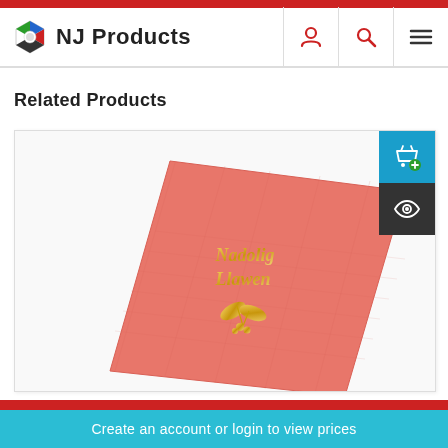NJ Products
Related Products
[Figure (photo): A salmon/coral-colored cocktail napkin laid flat at a slight angle on a white background. The napkin has gold foil text reading 'Nadolig Llawen' (Welsh for Merry Christmas) with a gold holly leaf and berry design beneath the text.]
Create an account or login to view prices